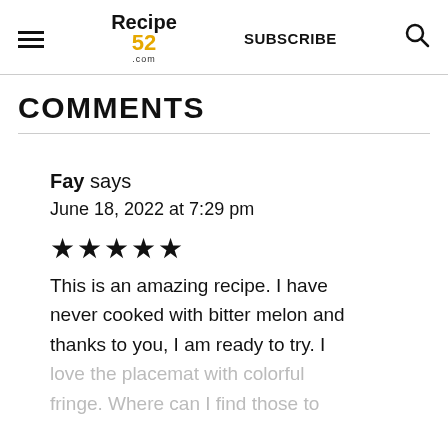Recipe 52 .com | SUBSCRIBE | [search icon]
COMMENTS
Fay says
June 18, 2022 at 7:29 pm
[Figure (other): 5 filled star rating icons]
This is an amazing recipe. I have never cooked with bitter melon and thanks to you, I am ready to try. I love the placemat with colorful fringe. Where can I find those to